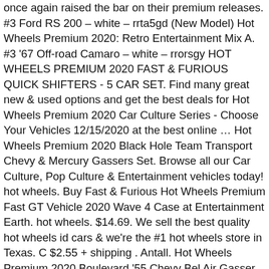once again raised the bar on their premium releases. #3 Ford RS 200 – white – rrta5gd (New Model) Hot Wheels Premium 2020: Retro Entertainment Mix A. #3 '67 Off-road Camaro – white – rrorsgy HOT WHEELS PREMIUM 2020 FAST & FURIOUS QUICK SHIFTERS - 5 CAR SET. Find many great new & used options and get the best deals for Hot Wheels Premium 2020 Car Culture Series - Choose Your Vehicles 12/15/2020 at the best online … Hot Wheels Premium 2020 Black Hole Team Transport Chevy & Mercury Gassers Set. Browse all our Car Culture, Pop Culture & Entertainment vehicles today! hot wheels. Buy Fast & Furious Hot Wheels Premium Fast GT Vehicle 2020 Wave 4 Case at Entertainment Earth. hot wheels. $14.69. We sell the best quality hot wheels id cars & we're the #1 hot wheels store in Texas. C $2.55 + shipping . Antall. Hot Wheels Premium 2020 Boulevard '55 Chevy Bel Air Gasser Hoonigan. 2020 . I know you've been dreading this one, but the time has come. Dragstrip Demons • AU $27.55 + AU $7.86 shipping . Monster Trucks. #1 1982 Nissan Skyline RS30 (KDR30) – red and black – rrta8 2020 Hot Wheels Boulevard Series Mix 4! Jcar Diecast is an Authorized